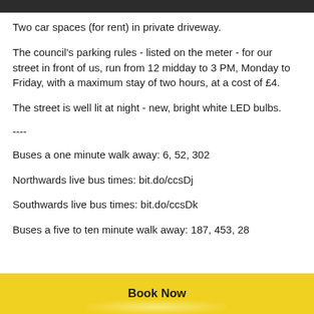Two car spaces (for rent) in private driveway.
The council's parking rules - listed on the meter - for our street in front of us, run from 12 midday to 3 PM, Monday to Friday, with a maximum stay of two hours, at a cost of £4.
The street is well lit at night - new, bright white LED bulbs.
----
Buses a one minute walk away: 6, 52, 302
Northwards live bus times: bit.do/ccsDj
Southwards live bus times: bit.do/ccsDk
Buses a five to ten minute walk away: 187, 453, 28